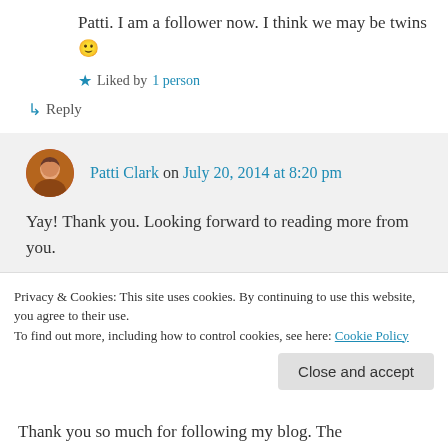Patti. I am a follower now. I think we may be twins 🙂
Liked by 1 person
↳ Reply
Patti Clark on July 20, 2014 at 8:20 pm
Yay! Thank you. Looking forward to reading more from you.
Privacy & Cookies: This site uses cookies. By continuing to use this website, you agree to their use. To find out more, including how to control cookies, see here: Cookie Policy
Close and accept
Thank you so much for following my blog. The